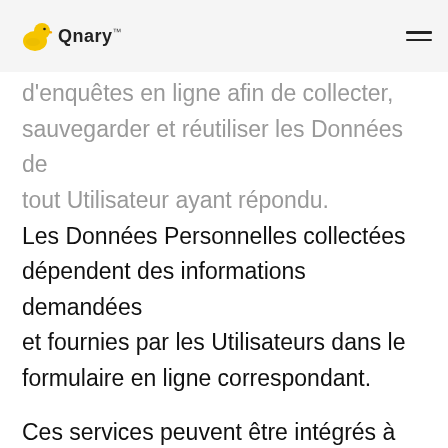Qnary™
déploiement, l'administration, la distribution et l'analyse de formulaires et d'enquêtes en ligne afin de collecter, sauvegarder et réutiliser les Données de tout Utilisateur ayant répondu. Les Données Personnelles collectées dépendent des informations demandées et fournies par les Utilisateurs dans le formulaire en ligne correspondant.
Ces services peuvent être intégrés à un large éventail de services tiers pour permettre au Propriétaire de prendre des mesures ultérieures avec les Données traitées - par exemple, la gestion des